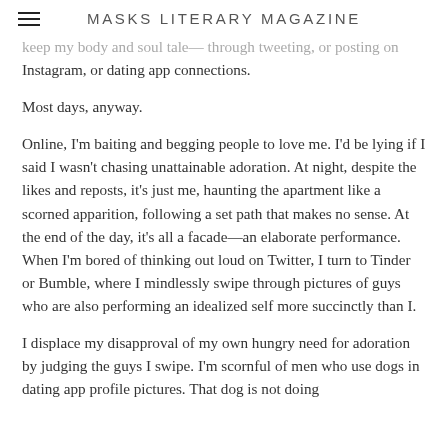MASKS LITERARY MAGAZINE
keep my body and soul tale— through tweeting, or posting on Instagram, or dating app connections.
Most days, anyway.
Online, I'm baiting and begging people to love me. I'd be lying if I said I wasn't chasing unattainable adoration. At night, despite the likes and reposts, it's just me, haunting the apartment like a scorned apparition, following a set path that makes no sense. At the end of the day, it's all a facade—an elaborate performance. When I'm bored of thinking out loud on Twitter, I turn to Tinder or Bumble, where I mindlessly swipe through pictures of guys who are also performing an idealized self more succinctly than I.
I displace my disapproval of my own hungry need for adoration by judging the guys I swipe. I'm scornful of men who use dogs in dating app profile pictures. That dog is not doing you because you know this trick. Sometimes, at My...